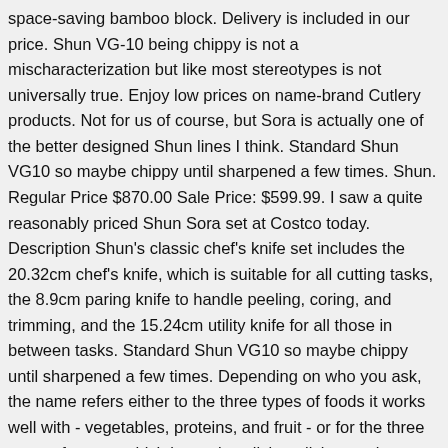space-saving bamboo block. Delivery is included in our price. Shun VG-10 being chippy is not a mischaracterization but like most stereotypes is not universally true. Enjoy low prices on name-brand Cutlery products. Not for us of course, but Sora is actually one of the better designed Shun lines I think. Standard Shun VG10 so maybe chippy until sharpened a few times. Shun. Regular Price $870.00 Sale Price: $599.99. I saw a quite reasonably priced Shun Sora set at Costco today. Description Shun's classic chef's knife set includes the 20.32cm chef's knife, which is suitable for all cutting tasks, the 8.9cm paring knife to handle peeling, coring, and trimming, and the 15.24cm utility knife for all those in between tasks. Standard Shun VG10 so maybe chippy until sharpened a few times. Depending on who you ask, the name refers either to the three types of foods it works well with - vegetables, proteins, and fruit - or for the three types of cuts at which it excels - slicing, dicing, and chopping. This batch is the others. High carbon stainless knife blades are stylish and will go with any kitchen decor. The knives are made in Japan with 16 degree edge, which is